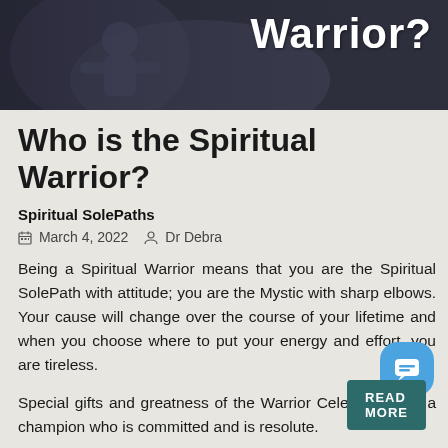[Figure (photo): Dark blue/grey toned hero image with a person in background; white bold text overlay reading 'Warrior?' in the upper right]
Who is the Spiritual Warrior?
Spiritual SolePaths
March 4, 2022  Dr Debra
Being a Spiritual Warrior means that you are the Spiritual SolePath with attitude; you are the Mystic with sharp elbows. Your cause will change over the course of your lifetime and when you choose where to put your energy and effort, you are tireless.
Special gifts and greatness of the Warrior Celestial Child: a champion who is committed and is resolute.